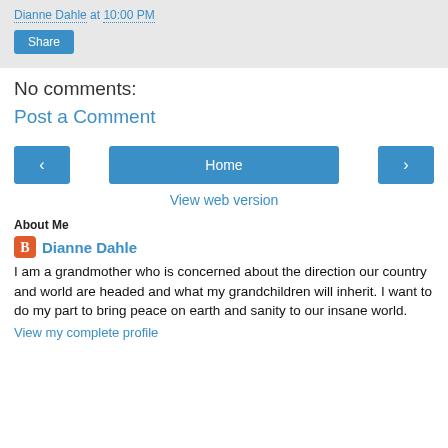Dianne Dahle at 10:00 PM
Share
No comments:
Post a Comment
‹
Home
›
View web version
About Me
Dianne Dahle
I am a grandmother who is concerned about the direction our country and world are headed and what my grandchildren will inherit. I want to do my part to bring peace on earth and sanity to our insane world.
View my complete profile